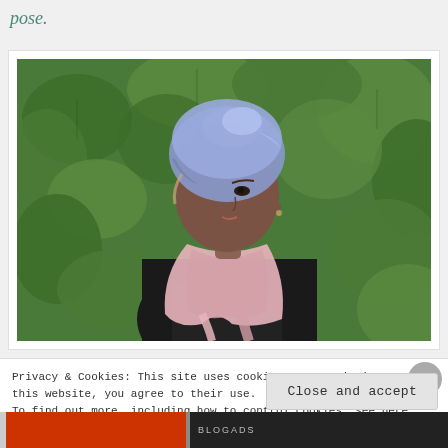pose.
[Figure (photo): A woman wearing a light blue/lavender turban headwrap, a pink scarf, and a black leather jacket, posing outdoors in front of dense green leafy bushes/raspberry canes. She is looking to her left.]
Privacy & Cookies: This site uses cookies. By continuing to use this website, you agree to their use.
To find out more, including how to control cookies, see here: Cookie Policy
Close and accept